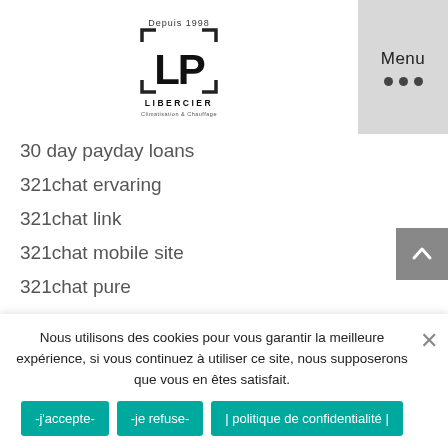[Figure (logo): Libercier logo with LP text and 'Depuis 1998' above, website name below]
30 day payday loans
321chat ervaring
321chat link
321chat mobile site
321chat pure
321chat search
400 payday loan
40goldpartnersuche.de bewertung
40goldpartnersuche.de dating
420 Dating dating
Nous utilisons des cookies pour vous garantir la meilleure expérience, si vous continuez à utiliser ce site, nous supposerons que vous en êtes satisfait.
-j'accepte-
-je refuse-
| politique de confidentialité |